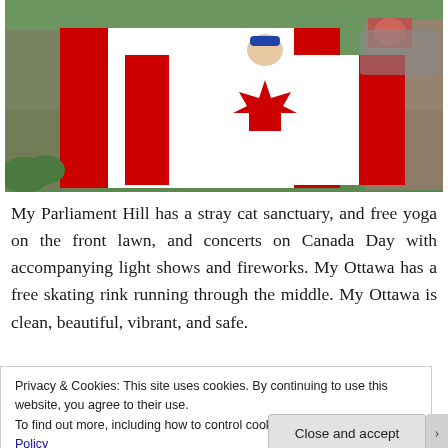[Figure (photo): Group of people standing outdoors on grass holding large Canadian flags (red and white with maple leaf). One person wearing a blue cap and sunglasses is visible in the center. A car is partially visible in the background.]
My Parliament Hill has a stray cat sanctuary, and free yoga on the front lawn, and concerts on Canada Day with accompanying light shows and fireworks. My Ottawa has a free skating rink running through the middle. My Ottawa is clean, beautiful, vibrant, and safe.
Privacy & Cookies: This site uses cookies. By continuing to use this website, you agree to their use.
To find out more, including how to control cookies, see here: Cookie Policy